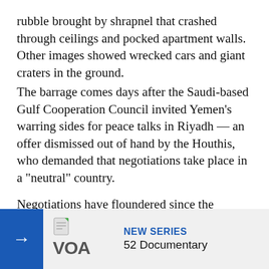rubble brought by shrapnel that crashed through ceilings and pocked apartment walls. Other images showed wrecked cars and giant craters in the ground.
The barrage comes days after the Saudi-based Gulf Cooperation Council invited Yemen's warring sides for peace talks in Riyadh — an offer dismissed out of hand by the Houthis, who demanded that negotiations take place in a "neutral" country.
Negotiations have floundered since the Houthis have tried to capture oil-rich Marib, one of the last remaining strongholds of the Saudi-backed Yemeni government in the country's north.
Yemen's brutal war erupted in 2014, after the Iran-backed Houthi... Saudi Arabia a... campaign to d...
[Figure (logo): VOA (Voice of America) logo with blue arrow button and NEW SERIES / 52 Documentary banner overlay at the bottom of the page]